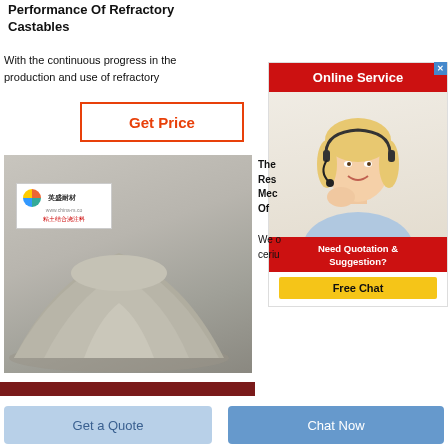Performance Of Refractory Castables
With the continuous progress in the production and use of refractory
Get Price
[Figure (photo): A pile of grey refractory castable powder with a product label card showing company logo and Chinese text for clay-bonded castable]
The Res Mec Of
We o ceriu
[Figure (photo): Online Service widget with a smiling blonde woman wearing a headset, Online Service banner in red, Need Quotation & Suggestion section with Free Chat button]
Get a Quote
Chat Now